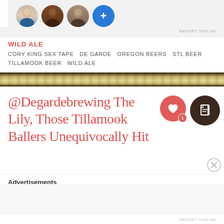[Figure (screenshot): Row of four circular avatar images and a blue plus button]
REPORT THIS AD
WILD ALE
CORY KING SEX TAPE  DE GARDE  OREGON BEERS  STL BEER  TILLAMOOK BEER  WILD ALE
[Figure (illustration): Decorative gold/brown horizontal band divider]
@Degardebrewing The Lily, Those Tillamook Ballers Unequivocally Hit
[Figure (illustration): Heart icon with count 1 and document copy icon]
[Figure (illustration): Close/X button icon]
Advertisements
REPORT THIS AD